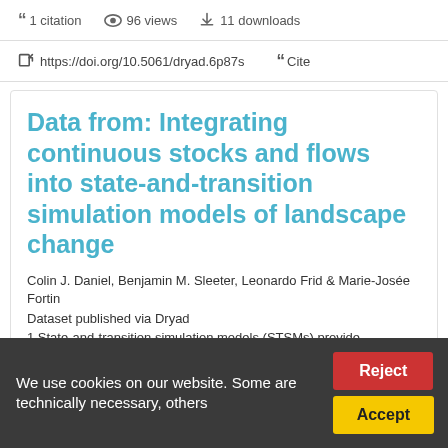1 citation   96 views   11 downloads
https://doi.org/10.5061/dryad.6p87s   Cite
Data from: Integrating continuous stocks and flows into state-and-transition simulation models of landscape change
Colin J. Daniel, Benjamin M. Sleeter, Leonardo Frid & Marie-Josée Fortin
Dataset published via Dryad
1 State-and-transition simulation models (STSMs) provide
We use cookies on our website. Some are technically necessary, others   Reject   Accept